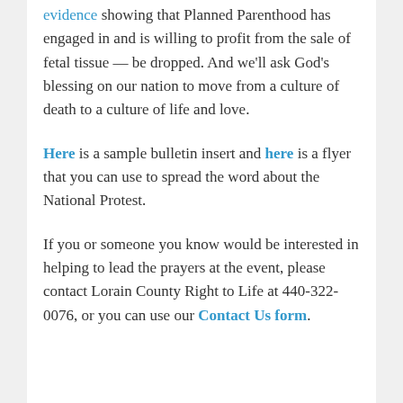evidence showing that Planned Parenthood has engaged in and is willing to profit from the sale of fetal tissue — be dropped. And we'll ask God's blessing on our nation to move from a culture of death to a culture of life and love.
Here is a sample bulletin insert and here is a flyer that you can use to spread the word about the National Protest.
If you or someone you know would be interested in helping to lead the prayers at the event, please contact Lorain County Right to Life at 440-322-0076, or you can use our Contact Us form.